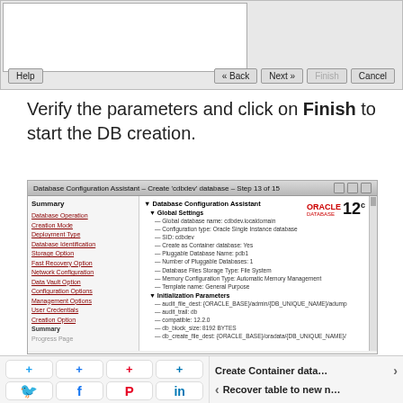[Figure (screenshot): Top portion of a dialog window with Help, Back, Next, Finish, Cancel buttons visible]
Verify the parameters and click on Finish to start the DB creation.
[Figure (screenshot): Oracle Database Configuration Assistant - Create 'cdbdev' database - Step 13 of 15. Shows Summary screen with left navigation sidebar listing steps (Database Operation, Creation Mode, Deployment Type, Database Identification, Storage Option, Fast Recovery Option, Network Configuration, Data Vault Option, Configuration Options, Management Options, User Credentials, Creation Option, Summary, Progress Page) and right content showing Database Configuration Assistant tree with Global Settings (Global database name: cdbdev.localdomain, Configuration type: Oracle Single Instance database, SID: cdbdev, Create as Container database: Yes, Pluggable Database Name: pdb1, Number of Pluggable Databases: 1, Database Files Storage Type: File System, Memory Configuration Type: Automatic Memory Management, Template name: General Purpose) and Initialization Parameters (audit_file_dest: {ORACLE_BASE}/admin/{DB_UNIQUE_NAME}/adump, audit_trail: db, compatible: 12.2.0, db_block_size: 8192 BYTES, db_create_file_dest: {ORACLE_BASE}/oradata/{DB_UNIQUE_NAME}/)]
[Figure (screenshot): Bottom navigation panel with social media share buttons (Twitter, Facebook, Pinterest, LinkedIn with plus icons) and navigation links: 'Create Container data...' with right arrow and 'Recover table to new n...' with left arrow]